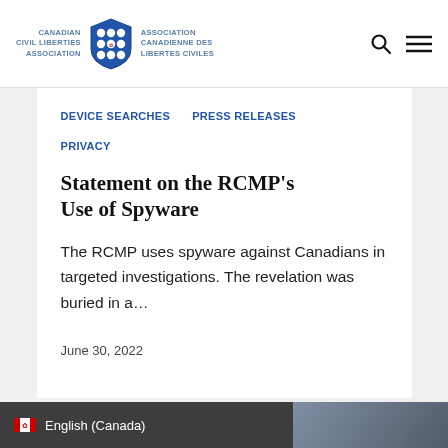CANADIAN CIVIL LIBERTIES ASSOCIATION | ASSOCIATION CANADIENNE DES LIBERTES CIVILES
Device Searches   PRESS RELEASES
PRIVACY
Statement on the RCMP’s Use of Spyware
The RCMP uses spyware against Canadians in targeted investigations. The revelation was buried in a…
June 30, 2022
English (Canada)